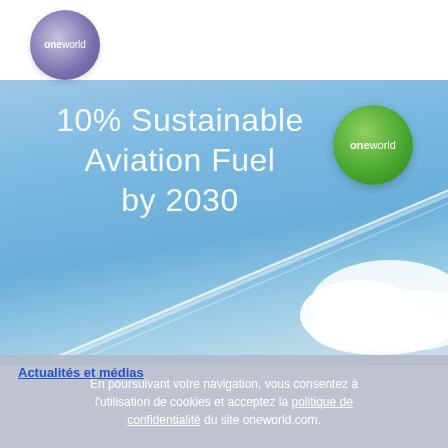[Figure (logo): oneworld airline alliance logo, purple/mauve sphere with 'one' bold and 'world' regular in white text, in white header bar]
[Figure (illustration): Sky background with blue gradient, airplane contrail lines crossing diagonally, white cloud at right, oneworld green sphere logo badge top right, headline text '10% Sustainable Aviation Fuel by 2030' in large white letters]
10% Sustainable Aviation Fuel by 2030
[Figure (logo): oneworld logo on green sphere badge]
Actualités et médias
En poursuivant votre navigation, vous consentez à l'utilisation de cookies et acceptez la politique de confidentialité du site oneworld.com.